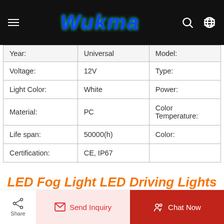[Figure (screenshot): Wukma website navigation bar with hamburger menu, logo, search and language icons on black background]
|  |  |  |
| --- | --- | --- |
| Year: | Universal | Model: |
| Voltage: | 12V | Type: |
| Light Color: | White | Power: |
| Material: | PC | Color Temperature: |
| Life span: | 50000(h) | Color: |
| Certification: | CE, IP67 |  |
LED Fog Light LED Driving Lights
Share | Send Inquiry | Chat Now